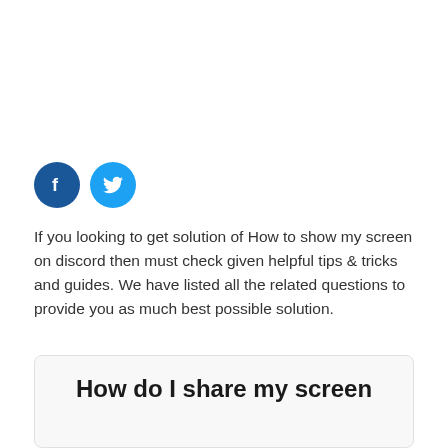[Figure (illustration): Two social media icon circles: Facebook (dark blue with 'f' logo) and Twitter (light blue with bird logo)]
If you looking to get solution of How to show my screen on discord then must check given helpful tips & tricks and guides. We have listed all the related questions to provide you as much best possible solution.
How do I share my screen